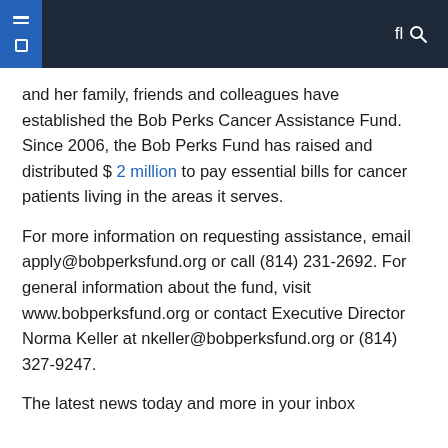Navigation bar with menu icons and search
and her family, friends and colleagues have established the Bob Perks Cancer Assistance Fund. Since 2006, the Bob Perks Fund has raised and distributed $ 2 million to pay essential bills for cancer patients living in the areas it serves.
For more information on requesting assistance, email apply@bobperksfund.org or call (814) 231-2692. For general information about the fund, visit www.bobperksfund.org or contact Executive Director Norma Keller at nkeller@bobperksfund.org or (814) 327-9247.
The latest news today and more in your inbox
Related Posts:
CABQ Black Owned Business Grant Application Now Open